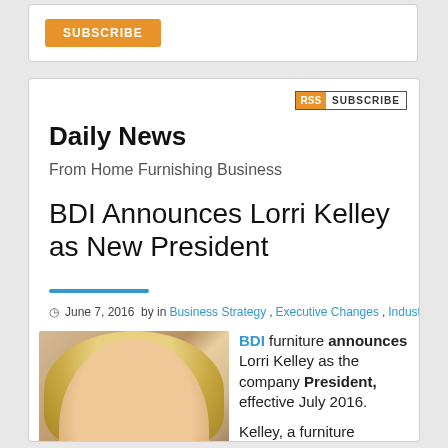[Figure (other): Orange SUBSCRIBE button in a white rounded box]
[Figure (other): RSS SUBSCRIBE badge — orange RSS label + dark bordered SUBSCRIBE text]
Daily News
From Home Furnishing Business
BDI Announces Lorri Kelley as New President
June 7, 2016  by in Business Strategy, Executive Changes, Industry
[Figure (photo): Headshot photo of Lorri Kelley, a woman with blonde hair, smiling]
BDI furniture announces Lorri Kelley as the company President, effective July 2016.

Kelley, a furniture industry leader, will